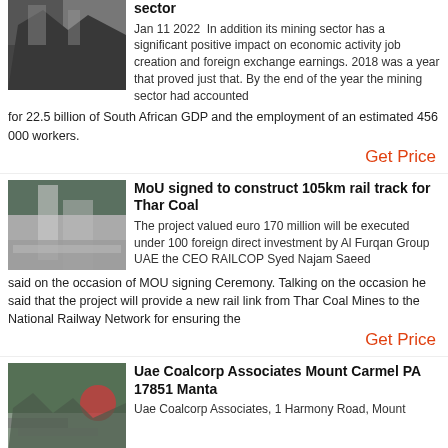[Figure (photo): Aerial or close-up view of a mining operation with heavy machinery and grey/dark terrain]
sector
Jan 11 2022  In addition its mining sector has a significant positive impact on economic activity job creation and foreign exchange earnings. 2018 was a year that proved just that. By the end of the year the mining sector had accounted for 22.5 billion of South African GDP and the employment of an estimated 456 000 workers.
Get Price
[Figure (photo): Industrial mining or quarry facility with conveyor belts and large equipment against a hillside backdrop]
MoU signed to construct 105km rail track for Thar Coal
The project valued euro 170 million will be executed under 100 foreign direct investment by Al Furqan Group UAE the CEO RAILCOP Syed Najam Saeed said on the occasion of MOU signing Ceremony. Talking on the occasion he said that the project will provide a new rail link from Thar Coal Mines to the National Railway Network for ensuring the
Get Price
[Figure (photo): Outdoor mining or quarry scene with machinery and forested hillside in background]
Uae Coalcorp Associates Mount Carmel PA 17851 Manta
Uae Coalcorp Associates, 1 Harmony Road, Mount